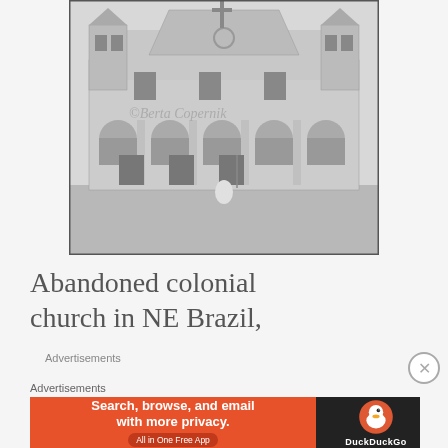[Figure (photo): Black and white photograph of an abandoned colonial church in Northeast Brazil. The facade shows a deteriorating two-story colonial building with arches, columns, a large cross at the top center, and ornamental towers on the sides. The building appears ruined with empty window frames and crumbling walls. A watermark reads '©Berta Copernik'. A lone figure sits in the foreground on a sandy/gravel plaza.]
Abandoned colonial church in NE Brazil,
Advertisements
Advertisements
[Figure (screenshot): DuckDuckGo advertisement banner. Left side is orange with text: 'Search, browse, and email with more privacy. All in One Free App'. Right side is dark with DuckDuckGo duck logo and 'DuckDuckGo' text.]